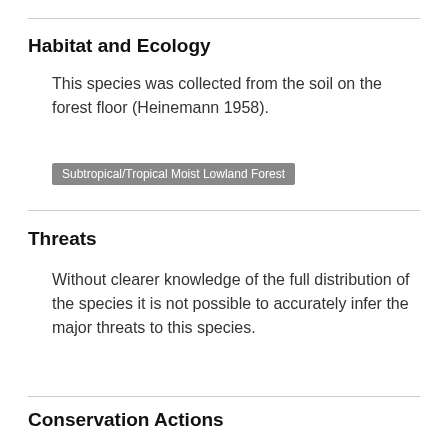Habitat and Ecology
This species was collected from the soil on the forest floor (Heinemann 1958).
Subtropical/Tropical Moist Lowland Forest
Threats
Without clearer knowledge of the full distribution of the species it is not possible to accurately infer the major threats to this species.
Conservation Actions
Research needed